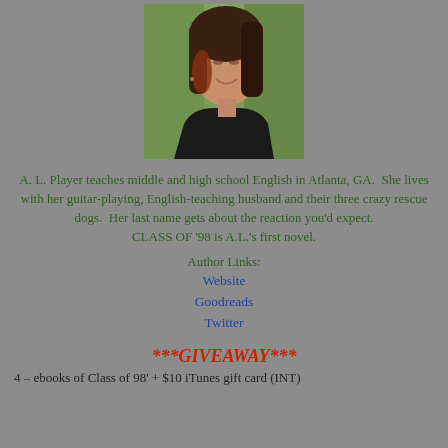[Figure (photo): Portrait photo of a young woman with dark hair, smiling, wearing a black top, outdoors with blurred green background]
A. L. Player teaches middle and high school English in Atlanta, GA.  She lives with her guitar-playing, English-teaching husband and their three crazy rescue dogs.  Her last name gets about the reaction you'd expect.
CLASS OF '98 is A.L.'s first novel.
Author Links:
Website
Goodreads
Twitter
***GIVEAWAY***
4 – ebooks of Class of 98' + $10 iTunes gift card (INT)